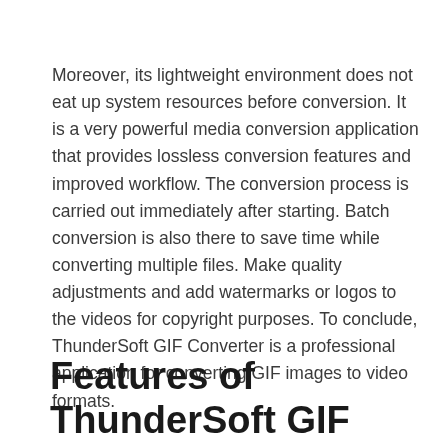Moreover, its lightweight environment does not eat up system resources before conversion. It is a very powerful media conversion application that provides lossless conversion features and improved workflow. The conversion process is carried out immediately after starting. Batch conversion is also there to save time while converting multiple files. Make quality adjustments and add watermarks or logos to the videos for copyright purposes. To conclude, ThunderSoft GIF Converter is a professional application for converting GIF images to video formats.
Features of ThunderSoft GIF Converter 4